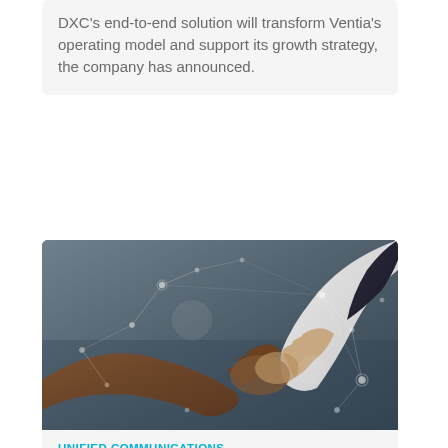DXC's end-to-end solution will transform Ventia's operating model and support its growth strategy, the company has announced.
[Figure (photo): Two people shaking hands against a blurred background with digital network overlay graphics showing connected nodes and lines]
UNIFIED COMMUNICATIONS
Call4tel appoints Soft Solutions as distie for 3CX PBX appliances
Call4telhas appointed Soft Solutions as its local authorised distributor of